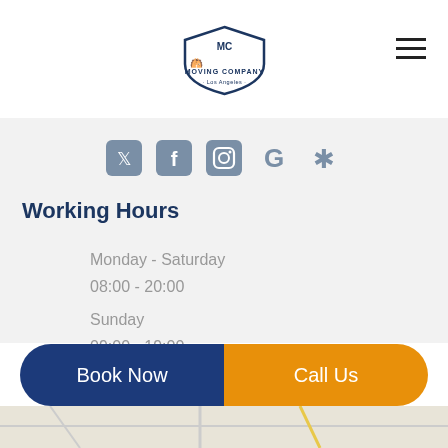[Figure (logo): Moving Company Los Angeles shield logo with two horses]
[Figure (other): Hamburger menu icon (three horizontal lines)]
[Figure (other): Social media icons row: Twitter, Facebook, Instagram, Google, Yelp]
Working Hours
Monday - Saturday
08:00 - 20:00
Sunday
09:00 - 19:00
Book Now
Call Us